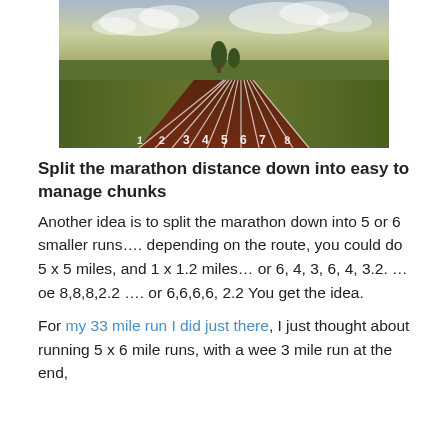[Figure (photo): A running track with lane numbers 1-8 marked in white, extending into the distance through a green landscape with trees and cloudy sky. The track has a reddish-brown surface.]
Split the marathon distance down into easy to manage chunks
Another idea is to split the marathon down into 5 or 6 smaller runs…. depending on the route, you could do 5 x 5 miles, and 1 x 1.2 miles… or 6, 4, 3, 6, 4, 3.2. … oe 8,8,8,2.2 …. or 6,6,6,6, 2.2 You get the idea.
For my 33 mile run I did just there, I just thought about running 5 x 6 mile runs, with a wee 3 mile run at the end,